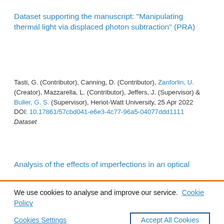Dataset supporting the manuscript: "Manipulating thermal light via displaced photon subtraction" (PRA)
Tasti, G. (Contributor), Canning, D. (Contributor), Zanforlin, U. (Creator), Mazzarella, L. (Contributor), Jeffers, J. (Supervisor) & Buller, G. S. (Supervisor), Heriot-Watt University, 25 Apr 2022
DOI: 10.17861/57cbd041-e6e3-4c77-96a5-04077ddd1111
Dataset
Analysis of the effects of imperfections in an optical
We use cookies to analyse and improve our service.  Cookie Policy
Cookies Settings      Accept All Cookies